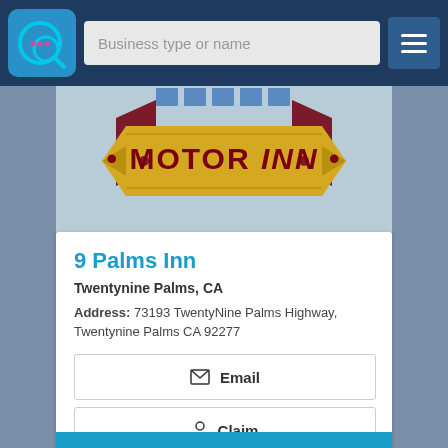Business type or name
[Figure (illustration): Motor Inn banner with gold ribbon and dark red text reading MOTOR INN]
9 Palms Inn
Twentynine Palms, CA
Address: 73193 TwentyNine Palms Highway, Twentynine Palms CA 92277
Email
Claim
Book Now